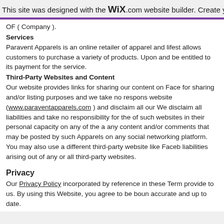This site was designed with the WiX.com website builder. Create yo
OF ( Company ).
Services
Paravent Apparels is an online retailer of apparel and lifest allows customers to purchase a variety of products. Upon and be entitled to its payment for the service.
Third-Party Websites and Content
Our website provides links for sharing our content on Face for sharing and/or listing purposes and we take no respons website (www.paraventapparels.com) and disclaim all our We disclaim all liabilities and take no responsibility for the of such websites in their personal capacity on any of the a any content and/or comments that may be posted by such Apparels on any social networking platform.
You may also use a different third-party website like Faceb liabilities arising out of any or all third-party websites.
Privacy
Our Privacy Policy incorporated by reference in these Term provide to us. By using this Website, you agree to be boun accurate and up to date.
The exactness of the Product
The images of the items on the website are for illustrative p colors accurately, we cannot guarantee that your compute items may vary slightly from those images. All sizes and me